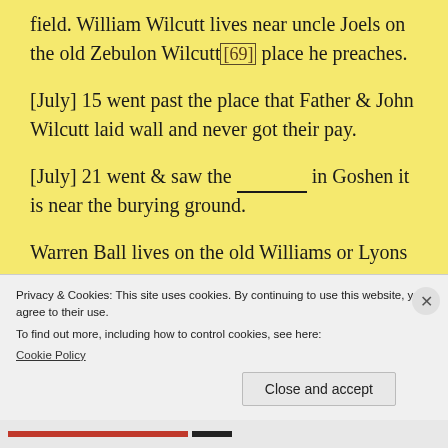field. William Wilcutt lives near uncle Joels on the old Zebulon Wilcutt[69] place he preaches.
[July] 15 went past the place that Father & John Wilcutt laid wall and never got their pay.
[July] 21 went & saw the ________ in Goshen it is near the burying ground.
Warren Ball lives on the old Williams or Lyons place.
Privacy & Cookies: This site uses cookies. By continuing to use this website, you agree to their use.
To find out more, including how to control cookies, see here:
Cookie Policy
Close and accept